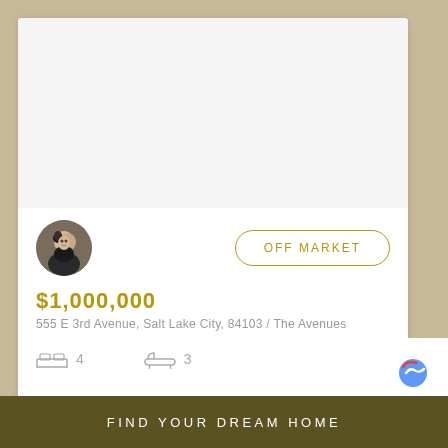[Figure (photo): Property photo area (blank/white in this view)]
[Figure (photo): Agent avatar photo: woman holding a dog, circular crop]
OFF MARKET
$1,000,000
555 E 3rd Avenue, Salt Lake City, 84103 / The Avenues
4 bedrooms, 3 bathrooms
FIND YOUR DREAM HOME